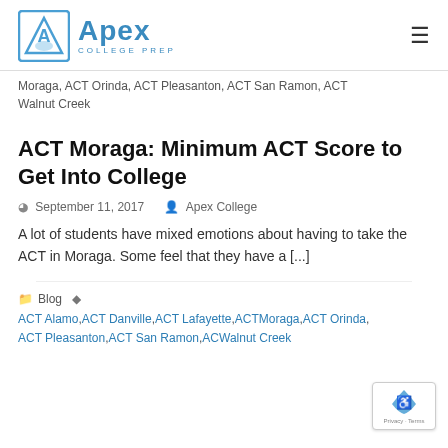Apex College Prep
Moraga, ACT Orinda, ACT Pleasanton, ACT San Ramon, ACT Walnut Creek
ACT Moraga: Minimum ACT Score to Get Into College
September 11, 2017 · Apex College
A lot of students have mixed emotions about having to take the ACT in Moraga. Some feel that they have a [...]
Blog · ACT Alamo, ACT Danville, ACT Lafayette, ACT Moraga, ACT Orinda, ACT Pleasanton, ACT San Ramon, ACT Walnut Creek